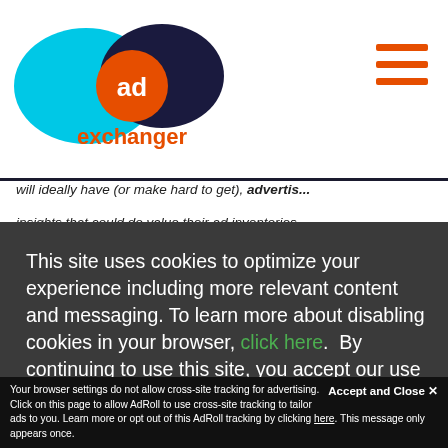[Figure (logo): AdExchanger logo — cyan oval overlapping dark navy oval, orange circle with 'ad' text, orange 'exchanger' wordmark below]
[Figure (other): Three horizontal orange lines (hamburger/menu icon) in top right corner]
will ideally have (or make hard to get) advertis... insights that could do value their ad inventories...
This site uses cookies to optimize your experience including more relevant content and messaging. To learn more about disabling cookies in your browser, click here.  By continuing to use this site, you accept our use of cookies. For more information, view our updated Privacy Policy.
...t's ...is an ...tists ...n ...ally,
I Consent
Accept and Close ✕
Your browser settings do not allow cross-site tracking for advertising. Click on this page to allow AdRoll to use cross-site tracking to tailor ads to you. Learn more or opt out of this AdRoll tracking by clicking here. This message only appears once.
...industry would eschew this as a 'nerd fight,' but the